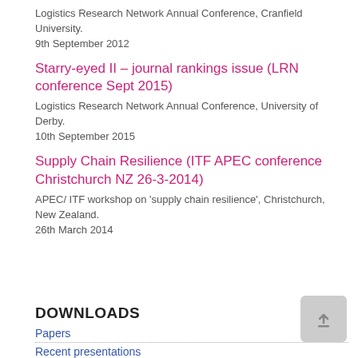Logistics Research Network Annual Conference, Cranfield University. 9th September 2012
Starry-eyed II – journal rankings issue (LRN conference Sept 2015)
Logistics Research Network Annual Conference, University of Derby. 10th September 2015
Supply Chain Resilience (ITF APEC conference Christchurch NZ 26-3-2014)
APEC/ ITF workshop on 'supply chain resilience', Christchurch, New Zealand. 26th March 2014
DOWNLOADS
Papers
Recent presentations